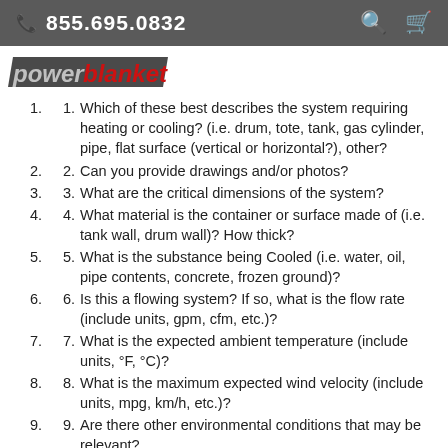855.695.0832
[Figure (logo): Powerblanket logo in red and black italicized text]
Which of these best describes the system requiring heating or cooling? (i.e. drum, tote, tank, gas cylinder, pipe, flat surface (vertical or horizontal?), other?
Can you provide drawings and/or photos?
What are the critical dimensions of the system?
What material is the container or surface made of (i.e. tank wall, drum wall)? How thick?
What is the substance being Cooled (i.e. water, oil, pipe contents, concrete, frozen ground)?
Is this a flowing system? If so, what is the flow rate (include units, gpm, cfm, etc.)?
What is the expected ambient temperature (include units, °F, °C)?
What is the maximum expected wind velocity (include units, mpg, km/h, etc.)?
Are there other environmental conditions that may be relevant?
What is the beginning temperature of the substance or contents (include units, °F, °C)?
What is the desired final temperature of the substance or contents (include units, °F, °C)?
What temperature range is acceptable?